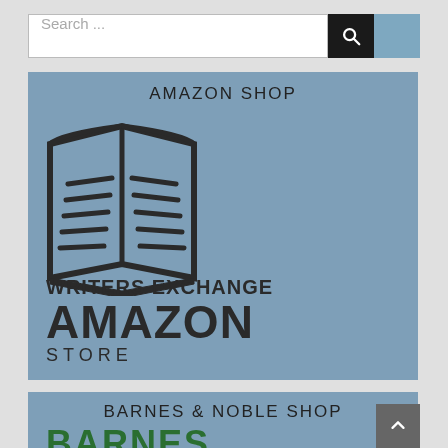[Figure (screenshot): Search bar with text input field reading 'Search ...' and a dark search button with magnifying glass icon, followed by a blue-gray panel.]
[Figure (logo): Amazon Shop banner with open book icon and text 'WRITERS EXCHANGE AMAZON STORE' on a steel blue background. Header reads 'AMAZON SHOP'.]
[Figure (logo): Barnes & Noble Shop banner on steel blue background. Header reads 'BARNES & NOBLE SHOP'. Large green bold text 'BARNES' partially visible at bottom.]